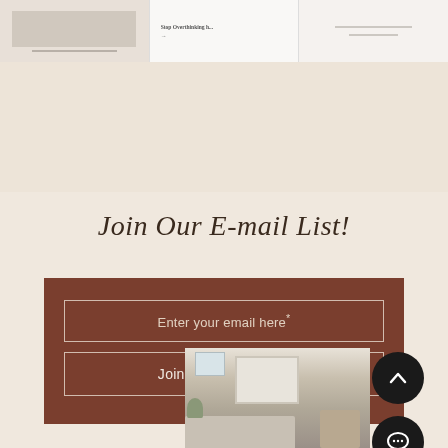[Figure (screenshot): Top strip showing three card/article preview thumbnails from a website, partially visible at the top of the page. Middle card shows text 'Stop Overthinking h...' with an arrow.]
Join Our E-mail List!
Enter your email here*
Join Our E-mail List!
[Figure (photo): Photo of a light, neutral-toned living room with a white sofa, wooden rocking chair with a blanket, a framed artwork on the wall, and a window with shades.]
[Figure (other): Two circular black navigation buttons on the right side: an upward chevron (scroll to top) button and a chat/message bubble button.]